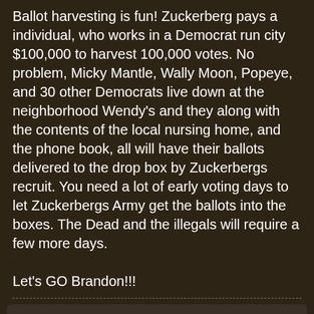Ballot harvesting is fun! Zuckerberg pays a individual, who works in a Democrat run city $100,000 to harvest 100,000 votes. No problem, Micky Mantle, Wally Moon, Popeye, and 30 other Democrats live down at the neighborhood Wendy's and they along with the contents of the local nursing home, and the phone book, all will have their ballots delivered to the drop box by Zuckerbergs recruit. You need a lot of early voting days to let Zuckerbergs Army get the ballots into the boxes. The Dead and the illegals will require a few more days.

Let's GO Brandon!!!
bowhunter75richard
□□□□□
Join Date: Mar 2015   Posts: 5016